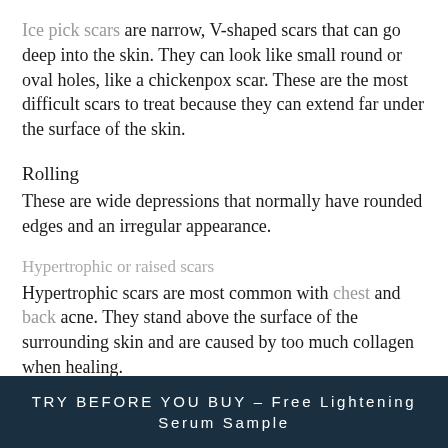Ice pick scars are narrow, V-shaped scars that can go deep into the skin. They can look like small round or oval holes, like a chickenpox scar. These are the most difficult scars to treat because they can extend far under the surface of the skin.
Rolling
These are wide depressions that normally have rounded edges and an irregular appearance.
Hypertrophic or raised scars
Hypertrophic scars are most common with chest and back acne. They stand above the surface of the surrounding skin and are caused by too much collagen when healing.
TRY BEFORE YOU BUY - Free Lightening Serum Sample